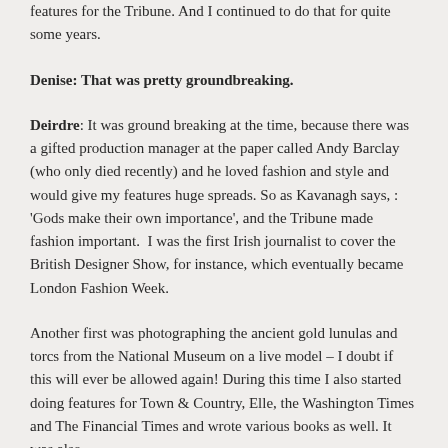features for the Tribune. And I continued to do that for quite some years.
Denise: That was pretty groundbreaking.
Deirdre: It was ground breaking at the time, because there was a gifted production manager at the paper called Andy Barclay (who only died recently) and he loved fashion and style and would give my features huge spreads. So as Kavanagh says, : 'Gods make their own importance', and the Tribune made fashion important.  I was the first Irish journalist to cover the British Designer Show, for instance, which eventually became London Fashion Week.
Another first was photographing the ancient gold lunulas and torcs from the National Museum on a live model – I doubt if this will ever be allowed again! During this time I also started doing features for Town & Country, Elle, the Washington Times and The Financial Times and wrote various books as well. It was also